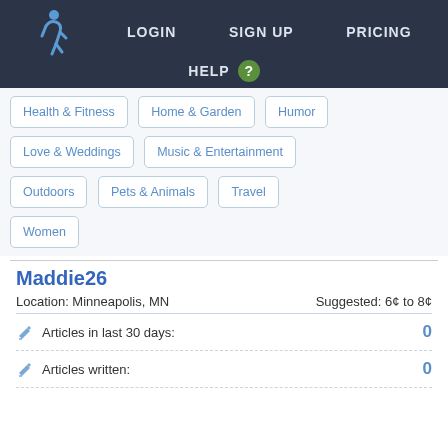LOGIN   SIGN UP   PRICING   HELP ?
Health & Fitness
Home & Garden
Humor
Love & Weddings
Music & Entertainment
Outdoors
Pets & Animals
Travel
Women
Maddie26
Location: Minneapolis, MN   Suggested: 6¢ to 8¢
Articles in last 30 days:   0
Articles written:   0